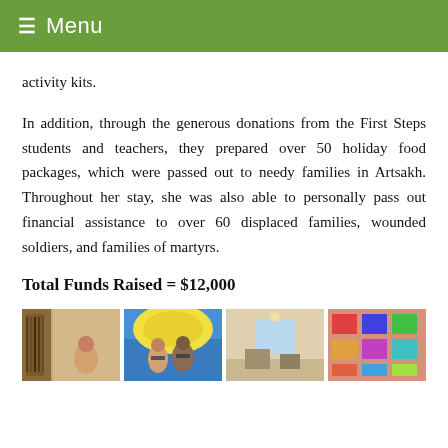≡ Menu
activity kits.
In addition, through the generous donations from the First Steps students and teachers, they prepared over 50 holiday food packages, which were passed out to needy families in Artsakh. Throughout her stay, she was also able to personally pass out financial assistance to over 60 displaced families, wounded soldiers, and families of martyrs.
Total Funds Raised = $12,000
[Figure (photo): Four photos showing people and gift items related to the fundraising effort]